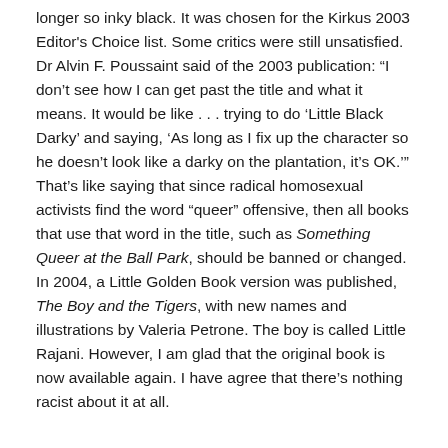longer so inky black. It was chosen for the Kirkus 2003 Editor's Choice list. Some critics were still unsatisfied. Dr Alvin F. Poussaint said of the 2003 publication: “I don’t see how I can get past the title and what it means. It would be like . . . trying to do ‘Little Black Darky’ and saying, ‘As long as I fix up the character so he doesn’t look like a darky on the plantation, it’s OK.’” That’s like saying that since radical homosexual activists find the word “queer” offensive, then all books that use that word in the title, such as Something Queer at the Ball Park, should be banned or changed. In 2004, a Little Golden Book version was published, The Boy and the Tigers, with new names and illustrations by Valeria Petrone. The boy is called Little Rajani. However, I am glad that the original book is now available again. I have agree that there’s nothing racist about it at all.